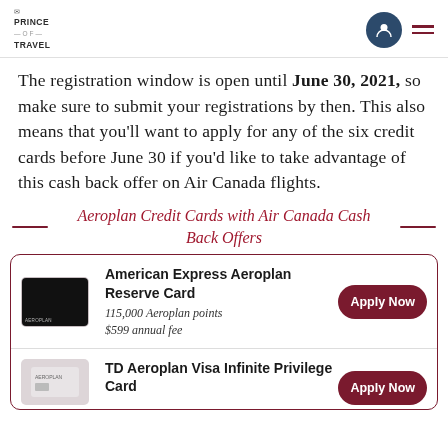Prince of Travel
The registration window is open until June 30, 2021, so make sure to submit your registrations by then. This also means that you'll want to apply for any of the six credit cards before June 30 if you'd like to take advantage of this cash back offer on Air Canada flights.
Aeroplan Credit Cards with Air Canada Cash Back Offers
| Card Image | Card Name / Details | Action |
| --- | --- | --- |
| [Amex card image] | American Express Aeroplan Reserve Card
115,000 Aeroplan points
$599 annual fee | Apply Now |
| [TD card image] | TD Aeroplan Visa Infinite Privilege Card | Apply Now |